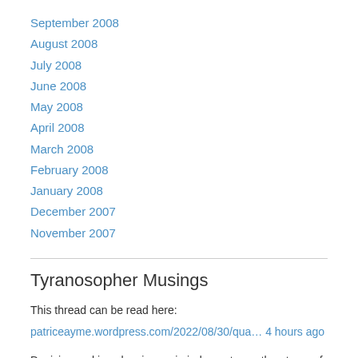September 2008
August 2008
July 2008
June 2008
May 2008
April 2008
March 2008
February 2008
January 2008
December 2007
November 2007
Tyranosopher Musings
This thread can be read here:
patriceayme.wordpress.com/2022/08/30/qua… 4 hours ago
Decision making showing up in judgments are the atoms of debate. Better decision making leads to better thinking. 4 hours ago